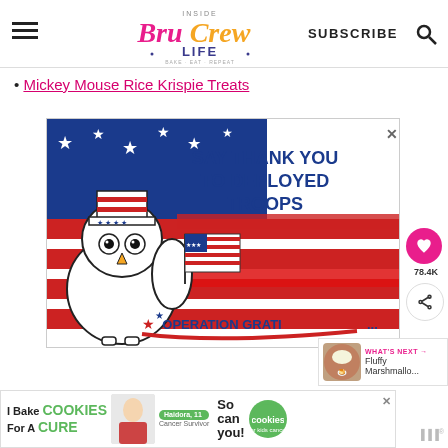Inside BruCrew Life — SUBSCRIBE [search icon]
Mickey Mouse Rice Krispie Treats
[Figure (illustration): Advertisement banner for Operation Gratitude: cartoon owl wearing Uncle Sam hat holding US flag, with patriotic US flag background and text 'SAY THANK YOU TO DEPLOYED TROOPS' and 'OPERATION GRATITUDE']
[Figure (illustration): Side social bar with pink heart save button showing 78.4K saves and a share button]
[Figure (illustration): What's Next panel showing thumbnail and text 'Fluffy Marshmallo...']
[Figure (illustration): Bottom ad banner: 'I Bake COOKIES For A CURE' with Cookies for Kids' Cancer branding and 'So can you!']